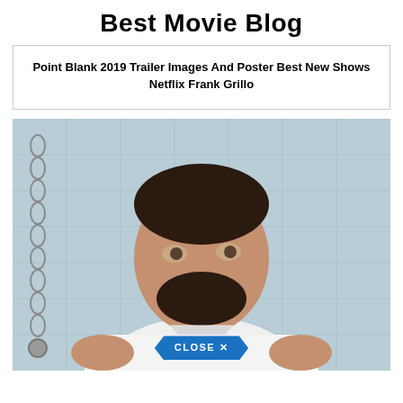Best Movie Blog
Point Blank 2019 Trailer Images And Poster Best New Shows Netflix Frank Grillo
[Figure (photo): Photo of Frank Grillo, a man with dark hair and beard wearing a white v-neck t-shirt, with a tiled wall background. A 'CLOSE X' button overlay appears at the bottom center of the image.]